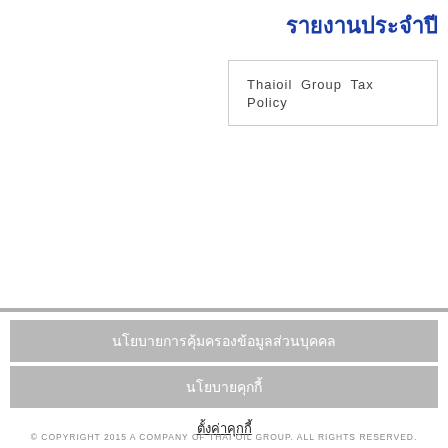รายงานประจำปี
Thaioil Group  Tax  Policy
นโยบายการคุ้มครองข้อมูลส่วนบุคคล
นโยบายคุกกี้
ตั้งค่าคุกกี้
© COPYRIGHT 2015 A COMPANY OF THAI OIL GROUP. ALL RIGHTS RESERVED.